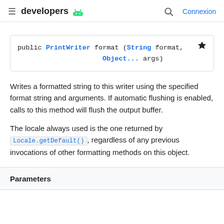developers — Connexion
Writes a formatted string to this writer using the specified format string and arguments. If automatic flushing is enabled, calls to this method will flush the output buffer.
The locale always used is the one returned by Locale.getDefault(), regardless of any previous invocations of other formatting methods on this object.
Parameters